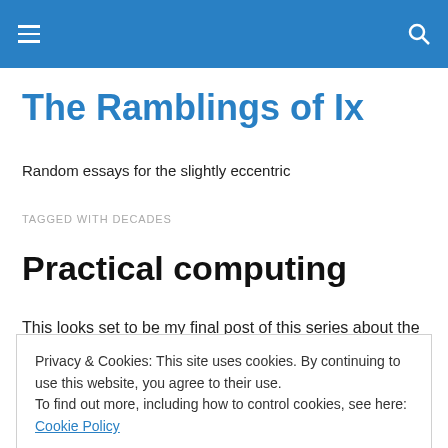The Ramblings of Ix — navigation bar
The Ramblings of Ix
Random essays for the slightly eccentric
TAGGED WITH DECADES
Practical computing
This looks set to be my final post of this series about the
Privacy & Cookies: This site uses cookies. By continuing to use this website, you agree to their use. To find out more, including how to control cookies, see here: Cookie Policy
mess around with these things, and who's interested in